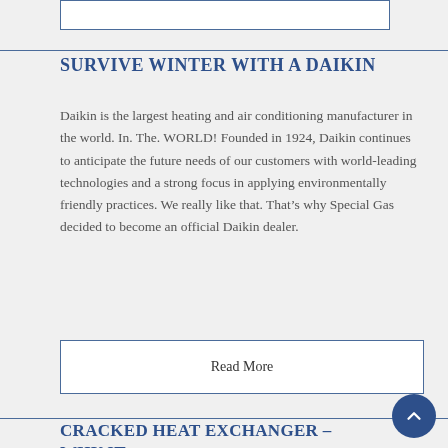SURVIVE WINTER WITH A DAIKIN
Daikin is the largest heating and air conditioning manufacturer in the world. In. The. WORLD! Founded in 1924, Daikin continues to anticipate the future needs of our customers with world-leading technologies and a strong focus in applying environmentally friendly practices. We really like that. That’s why Special Gas decided to become an official Daikin dealer.
Read More
CRACKED HEAT EXCHANGER – WHY IT HAPPENS AND HOW TO PREVENT IT